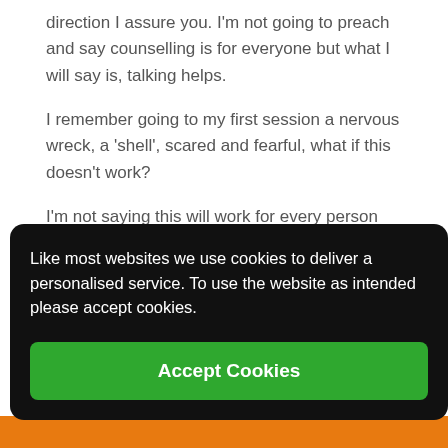direction I assure you. I'm not going to preach and say counselling is for everyone but what I will say is, talking helps.
I remember going to my first session a nervous wreck, a 'shell', scared and fearful, what if this doesn't work?
I'm not saying this will work for every person who is suffering, has suffered or will suffer, but for me IT DID.
I struck up a great relationship with my counsellor, my partner and I still to this day believe she was capable of [text partially obscured] and [text partially obscured] strong [text partially obscured] sions [text partially obscured] rds
Like most websites we use cookies to deliver a personalised service. To use the website as intended please accept cookies.
Accept Cookies